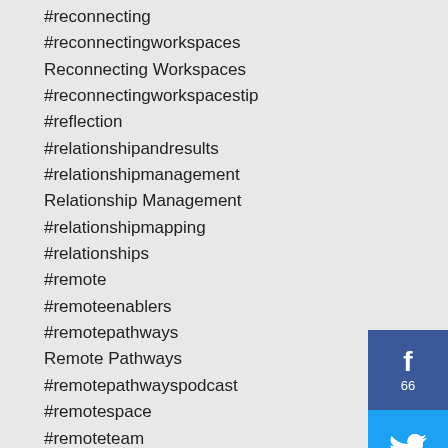#reconnecting
#reconnectingworkspaces
Reconnecting Workspaces
#reconnectingworkspacestip
#reflection
#relationshipandresults
#relationshipmanagement
Relationship Management
#relationshipmapping
#relationships
#remote
#remoteenablers
#remotepathways
Remote Pathways
#remotepathwayspodcast
#remotespace
#remoteteam
#remoteteams
Remote Teams
[Figure (infographic): Social media share buttons: Facebook (66 shares), Twitter, Pinterest]